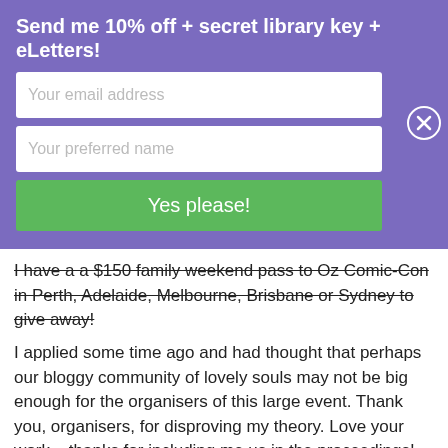Send me 10% off + secret library key + eLetters!
[Figure (infographic): Email signup form with two input fields (Your email address, Your preferred name), a green Yes please! button, and an X close button, all on a purple background.]
I have a a $150 family weekend pass to Oz Comic-Con in Perth, Adelaide, Melbourne, Brisbane or Sydney to give away! (strikethrough text)
I applied some time ago and had thought that perhaps our bloggy community of lovely souls may not be big enough for the organisers of this large event. Thank you, organisers, for disproving my theory. Love your work – thanks for including me us in the proceedings!
Costumes
Remember when I dressed up as Frida Kahlo for Oz Comic-Con in Adelaide a couple of years ago? Not Sci Fi, but iconic never the less. Click this to check out my blog post about making it to Frida-the-actual-artist's-